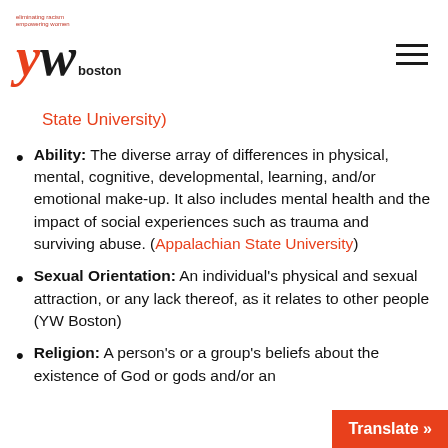eliminating racism empowering women | YW Boston
State University)
Ability: The diverse array of differences in physical, mental, cognitive, developmental, learning, and/or emotional make-up. It also includes mental health and the impact of social experiences such as trauma and surviving abuse. (Appalachian State University)
Sexual Orientation: An individual's physical and sexual attraction, or any lack thereof, as it relates to other people (YW Boston)
Religion: A person's or a group's beliefs about the existence of God or gods and/or an...